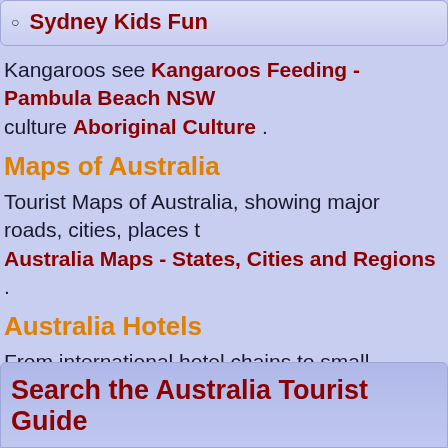Sydney Kids Fun
Kangaroos see Kangaroos Feeding - Pambula Beach NSW culture Aboriginal Culture.
Maps of Australia
Tourist Maps of Australia, showing major roads, cities, places to Australia Maps - States, Cities and Regions.
Australia Hotels
From international hotel chains to small boutique hotels. Seas hotels, holiday apartment and beach homes are becoming inc
Main Photo: Getting up close with Kangaroos.
Search the Australia Tourist Guide